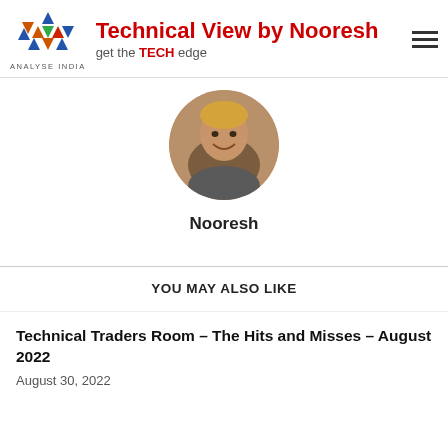Technical View by Nooresh — get the TECH edge
[Figure (photo): Circular profile photo of Nooresh, smiling man with styled hair]
Nooresh
YOU MAY ALSO LIKE
Technical Traders Room – The Hits and Misses – August 2022
August 30, 2022